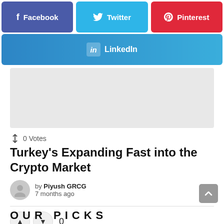[Figure (other): Social share buttons: Facebook (purple), Twitter (blue), Pinterest (red), LinkedIn (blue gradient)]
[Figure (other): Advertisement placeholder gray box]
↕ 0 Votes
Turkey's Expanding Fast into the Crypto Market
by Piyush GRCG
7 months ago
▲ ▼ 0
OUR PICKS